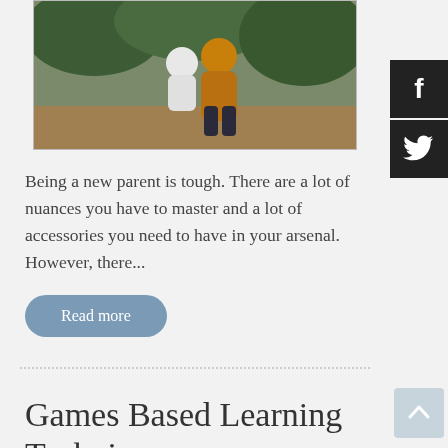[Figure (photo): A parent crouching outdoors hugging or holding a young child, with green bushes in the background. The parent is wearing a mustard/yellow top.]
Being a new parent is tough. There are a lot of nuances you have to master and a lot of accessories you need to have in your arsenal. However, there...
Read more
Games Based Learning Techniques are